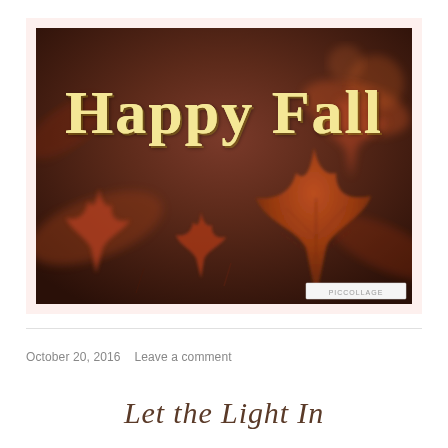[Figure (photo): A 'Happy Fall' greeting card image showing autumn leaves on a dark brown blurred background with the text 'Happy Fall' in large cream/yellow cursive script. A PicCollage badge appears at the bottom right corner.]
October 20, 2016   Leave a comment
Let the Light In